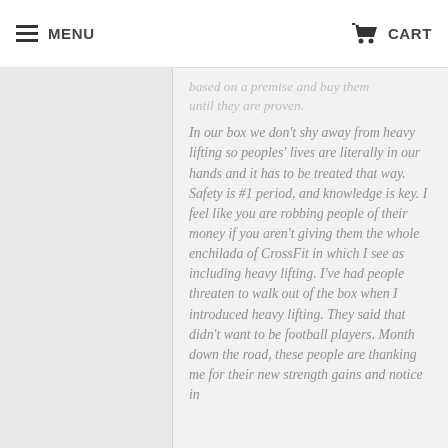MENU    CART
based on a premise and buy them until they are proven.
In our box we don't shy away from heavy lifting so peoples' lives are literally in our hands and it has to be treated that way. Safety is #1 period, and knowledge is key. I feel like you are robbing people of their money if you aren't giving them the whole enchilada of CrossFit in which I see as including heavy lifting. I've had people threaten to walk out of the box when I introduced heavy lifting. They said that didn't want to be football players. Month down the road, these people are thanking me for their new strength gains and notice in